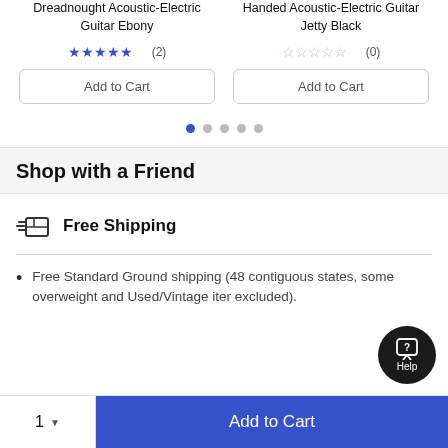Dreadnought Acoustic-Electric Guitar Ebony
Handed Acoustic-Electric Guitar Jetty Black
★★★★★ (2)
☆☆☆☆☆ (0)
Add to Cart
Add to Cart
[Figure (other): Pagination dots row with 5 dots, first dot filled blue]
Shop with a Friend
Free Shipping
Free Standard Ground shipping (48 contiguous states, some overweight and Used/Vintage items excluded).
Add to Cart